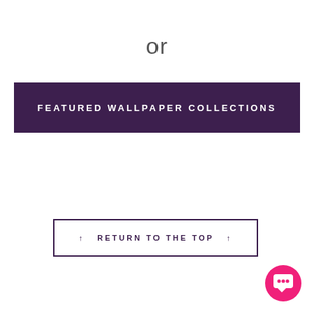or
FEATURED WALLPAPER COLLECTIONS
↑  RETURN TO THE TOP  ↑
[Figure (illustration): Pink circular chat bubble icon with a white speech bubble inside]